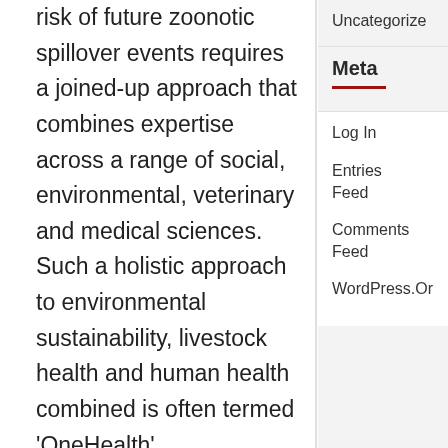risk of future zoonotic spillover events requires a joined-up approach that combines expertise across a range of social, environmental, veterinary and medical sciences. Such a holistic approach to environmental sustainability, livestock health and human health combined is often termed 'OneHealth' (https://www.cdc.gov/onehealth/ind and aims to understand how environmental health influences spillover probability, and to act to reduce those
Uncategorize
Meta
Log In
Entries Feed
Comments Feed
WordPress.Or